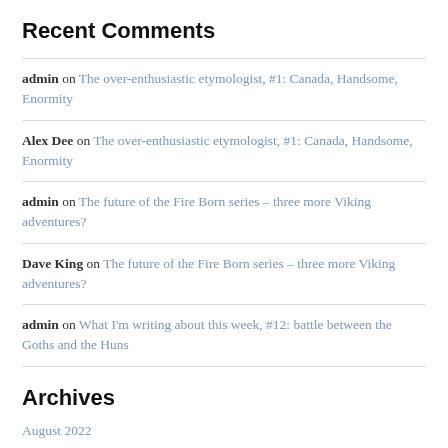Recent Comments
admin on The over-enthusiastic etymologist, #1: Canada, Handsome, Enormity
Alex Dee on The over-enthusiastic etymologist, #1: Canada, Handsome, Enormity
admin on The future of the Fire Born series – three more Viking adventures?
Dave King on The future of the Fire Born series – three more Viking adventures?
admin on What I'm writing about this week, #12: battle between the Goths and the Huns
Archives
August 2022